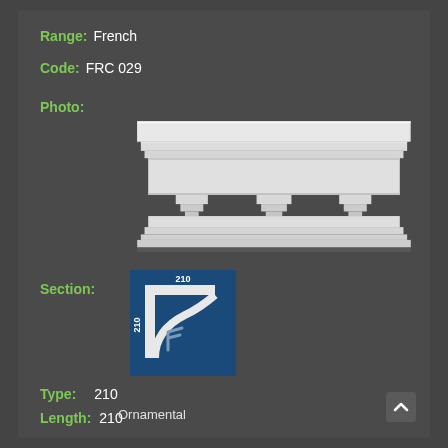Range: French
Code: FRC 029
[Figure (photo): White ornamental cornice/coving piece (FRC 029) — a classical French-style cornice with decorative dentils and stepped profile, viewed from front at slight angle, white plaster finish.]
[Figure (engineering-diagram): Cross-section diagram of cornice profile type 210, shown on dark blue background. Shows the profile shape in white with dimensions 210 labeled on both axes (width and height).]
Section:
Type: 210
Length: 210
Ornamental